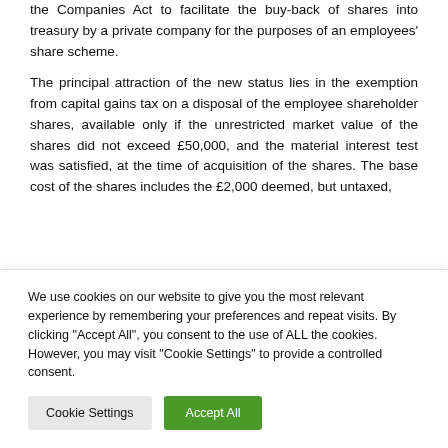the Companies Act to facilitate the buy-back of shares into treasury by a private company for the purposes of an employees' share scheme.
The principal attraction of the new status lies in the exemption from capital gains tax on a disposal of the employee shareholder shares, available only if the unrestricted market value of the shares did not exceed £50,000, and the material interest test was satisfied, at the time of acquisition of the shares. The base cost of the shares includes the £2,000 deemed, but untaxed,
We use cookies on our website to give you the most relevant experience by remembering your preferences and repeat visits. By clicking "Accept All", you consent to the use of ALL the cookies. However, you may visit "Cookie Settings" to provide a controlled consent.